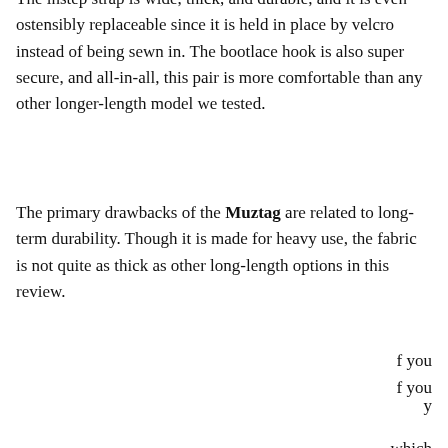The instep strap is wide, thick, and durable, and it is even ostensibly replaceable since it is held in place by velcro instead of being sewn in. The bootlace hook is also super secure, and all-in-all, this pair is more comfortable than any other longer-length model we tested.
The primary drawbacks of the Muztag are related to long-term durability. Though it is made for heavy use, the fabric is not quite as thick as other long-length options in this review. [partially obscured by cookie banner] ...you ...y ...which ...going ...we ...
[Figure (screenshot): Cookie consent overlay banner with dark background. Text reads: 'We use cookies on this site to optimize site functionality and give you the best possible experience. By using this site, you accept our use of cookies. Learn more' with a 'Got it!' button.]